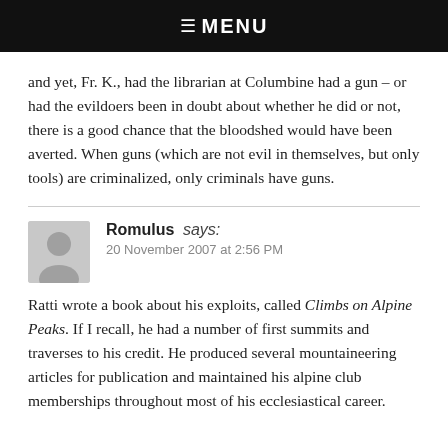☰ MENU
and yet, Fr. K., had the librarian at Columbine had a gun – or had the evildoers been in doubt about whether he did or not, there is a good chance that the bloodshed would have been averted. When guns (which are not evil in themselves, but only tools) are criminalized, only criminals have guns.
Romulus says:
20 November 2007 at 2:56 PM
Ratti wrote a book about his exploits, called Climbs on Alpine Peaks. If I recall, he had a number of first summits and traverses to his credit. He produced several mountaineering articles for publication and maintained his alpine club memberships throughout most of his ecclesiastical career.